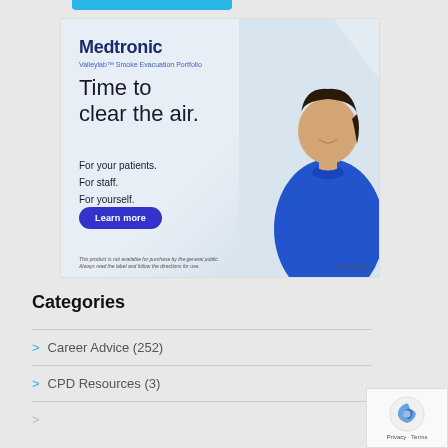[Figure (illustration): Medtronic advertisement for Valleylab Smoke Evacuation Portfolio featuring a smiling woman in blue scrubs with arms crossed. Text reads: Medtronic, Valleylab Smoke Evacuation Portfolio, Time to clear the air. For your patients. For staff. For yourself. Learn more button. Disclaimer text at bottom.]
Categories
> Career Advice (252)
> CPD Resources (3)